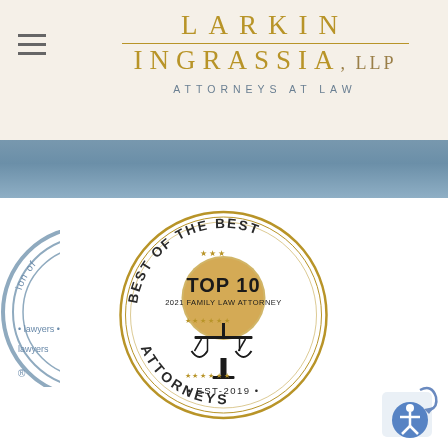[Figure (logo): Larkin Ingrassia LLP Attorneys at Law law firm header with gold lettering on cream background, with blue banner below]
[Figure (logo): Partial left badge showing association of lawyers seal]
[Figure (logo): Best of the Best Top 10 2021 Family Law Attorney EST-2019 Attorneys circular gold badge with scales of justice]
[Figure (logo): Partial right badge showing American (truncated) circular seal]
[Figure (logo): Accessibility icon button in bottom right corner]